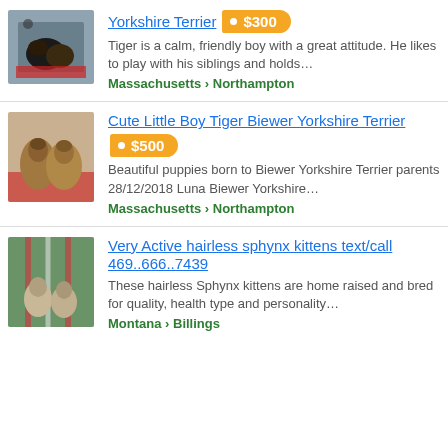[Figure (photo): Small black and brown Yorkshire Terrier puppy lying on a red surface]
Yorkshire Terrier
$300
Tiger is a calm, friendly boy with a great attitude. He likes to play with his siblings and holds…
Massachusetts › Northampton
[Figure (photo): Two Biewer Yorkshire Terrier puppies sitting on a red surface]
Cute Little Boy Tiger Biewer Yorkshire Terrier
$500
Beautiful puppies born to Biewer Yorkshire Terrier parents 28/12/2018 Luna Biewer Yorkshire…
Massachusetts › Northampton
[Figure (photo): Two hairless Sphynx kittens outdoors on a hammock with green background]
Very Active hairless sphynx kittens text/call 469..666..7439
These hairless Sphynx kittens are home raised and bred for quality, health type and personality…
Montana › Billings